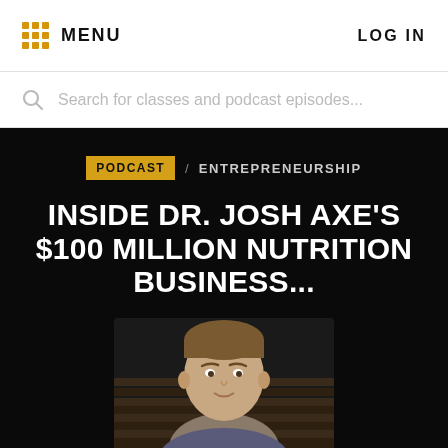MENU   LOG IN
Search for classes and podcast episodes...
PODCAST / ENTREPRENEURSHIP
INSIDE DR. JOSH AXE'S $100 MILLION NUTRITION BUSINESS...
Dr. Josh Axe   0
[Figure (photo): Headshot photo of Dr. Josh Axe, a man with short brown hair, visible from shoulders up against a dark background]